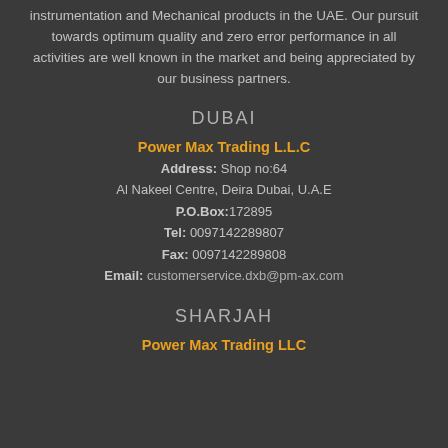instrumentation and Mechanical products in the UAE. Our pursuit towards optimum quality and zero error performance in all activities are well known in the market and being appreciated by our business partners.
DUBAI
Power Max Trading L.L.C
Address: Shop no:64
Al Nakeel Centre, Deira Dubai, U.A.E
P.O.Box:172895
Tel: 0097142289807
Fax: 0097142289808
Email: customerservice.dxb@pm-ax.com
SHARJAH
Power Max Trading LLC